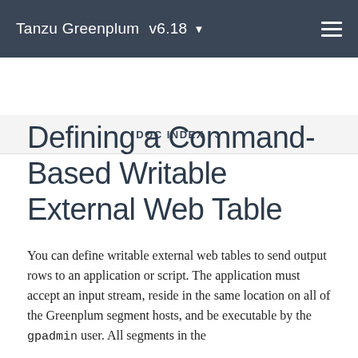Tanzu Greenplum v6.18
DOC INDEX
Defining a Command-Based Writable External Web Table
You can define writable external web tables to send output rows to an application or script. The application must accept an input stream, reside in the same location on all of the Greenplum segment hosts, and be executable by the gpadmin user. All segments in the